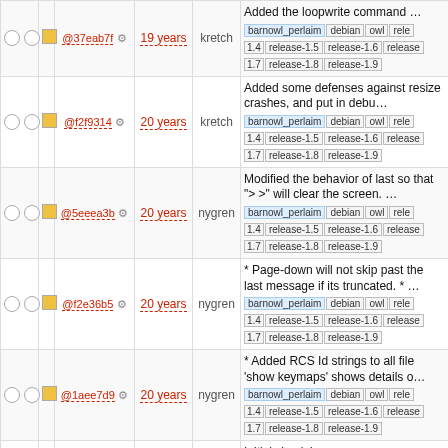| sel | sel2 | color | hash | gear | age | author | description |
| --- | --- | --- | --- | --- | --- | --- | --- |
| ○ | ○ | yellow | @37eab7f | ⚙ | 19 years | kretch | Added the loopwrite command ... barnowl_perlaim debian owl rele 1.4 release-1.5 release-1.6 release 1.7 release-1.8 release-1.9 |
| ○ | ○ | yellow | @f2f9314 | ⚙ | 20 years | kretch | Added some defenses against resize crashes, and put in debu... barnowl_perlaim debian owl rele 1.4 release-1.5 release-1.6 release 1.7 release-1.8 release-1.9 |
| ○ | ○ | yellow | @5eeea3b | ⚙ | 20 years | nygren | Modified the behavior of last so that "> >" will clear the screen. ... barnowl_perlaim debian owl rele 1.4 release-1.5 release-1.6 release 1.7 release-1.8 release-1.9 |
| ○ | ○ | yellow | @f2e36b5 | ⚙ | 20 years | nygren | * Page-down will not skip past the last message if its truncated. * ... barnowl_perlaim debian owl rele 1.4 release-1.5 release-1.6 release 1.7 release-1.8 release-1.9 |
| ○ | ○ | yellow | @1aee7d9 | ⚙ | 20 years | nygren | * Added RCS Id strings to all file 'show keymaps' shows details o... barnowl_perlaim debian owl rele 1.4 release-1.5 release-1.6 release 1.7 release-1.8 release-1.9 |
| ● | ○ | green | @7d4fbcd | ⚙ | 20 years | kretch | Initial check in barnowl_perlaim debian owl rele 1.4 release-1.5 release-1.6 release 1.7 release-1.8 release-1.9 |
View changes
Note: See TracRevisionLog for help on using the revision log.